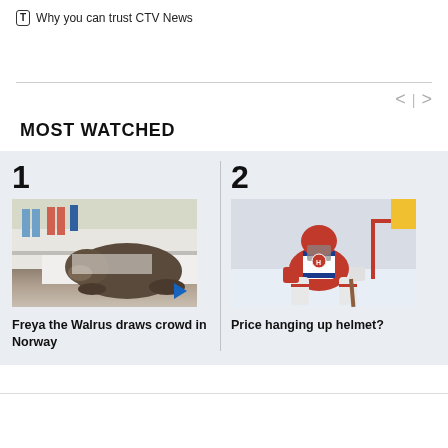Why you can trust CTV News
MOST WATCHED
[Figure (photo): Walrus on boat deck with people visible. Item 1 in Most Watched carousel. Title: Freya the Walrus draws crowd in Norway]
Freya the Walrus draws crowd in Norway
[Figure (photo): Ice hockey goalie in red Montreal Canadiens jersey making a save. Item 2 in Most Watched carousel. Title: Price hanging up helmet?]
Price hanging up helmet?